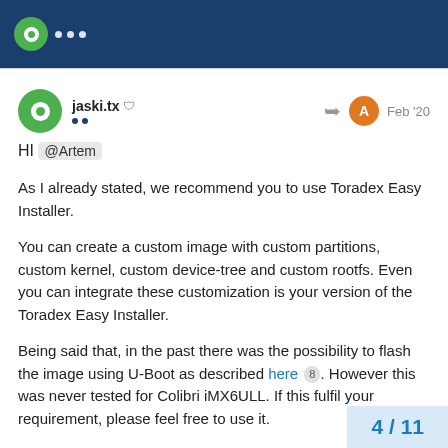Toradex Community Forum header with logo
jaski.tx  Feb '20
HI @Artem

As I already stated, we recommend you to use Toradex Easy Installer.

You can create a custom image with custom partitions, custom kernel, custom device-tree and custom rootfs. Even you can integrate these customization is your version of the Toradex Easy Installer.

Being said that, in the past there was the possibility to flash the image using U-Boot as described here 8. However this was never tested for Colibri iMX6ULL. If this fulfil your requirement, please feel free to use it.

Best regards,
4 / 11